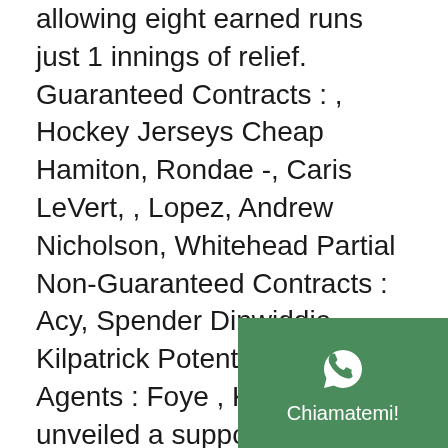allowing eight earned runs just 1 innings of relief. Guaranteed Contracts : , Hockey Jerseys Cheap Hamiton, Rondae -, Caris LeVert, , Lopez, Andrew Nicholson, Whitehead Partial Non-Guaranteed Contracts : Acy, Spender Dinwiddie, , Kilpatrick Potential Free Agents : Foye , K.J. Chivas unveiled a supporting spot, Blended is Better, focusing on Wholesale Jerseys NFL the unique blend of characteristics included the Manchester United team.
Give it to him. The Devils weren't e... be the Metropolitan Division mix thi... they are, wholesale jerseys from china buyers at the deadline. No Credit Card. As a team, New has allowed 8 hits per nine innings while
[Figure (other): WhatsApp contact widget with green background, phone icon, and 'Chiamatemi!' label]